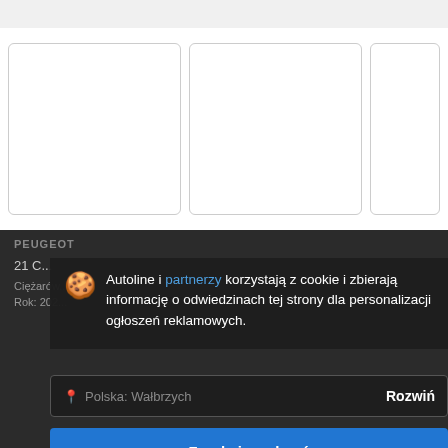[Figure (screenshot): Top navigation bar of Autoline website, light gray background]
[Figure (screenshot): Three white rounded-corner image card placeholders for vehicle photos]
PEUGEOT
21 C...
Ciężarów...
Rok: 202...
Autoline i partnerzy korzystają z cookie i zbierają informację o odwiedzinach tej strony dla personalizacji ogłoszeń reklamowych.
Polska: Wałbrzych
Rozwiń
Zgoda i zamknąć